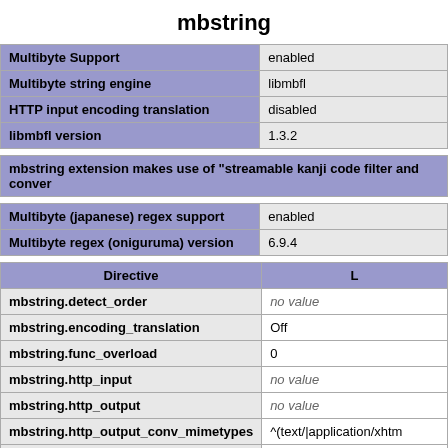mbstring
| Multibyte Support | enabled |
| --- | --- |
| Multibyte string engine | libmbfl |
| HTTP input encoding translation | disabled |
| libmbfl version | 1.3.2 |
mbstring extension makes use of "streamable kanji code filter and conver
| Multibyte (japanese) regex support | enabled |
| --- | --- |
| Multibyte regex (oniguruma) version | 6.9.4 |
| Directive | L |
| --- | --- |
| mbstring.detect_order | no value |
| mbstring.encoding_translation | Off |
| mbstring.func_overload | 0 |
| mbstring.http_input | no value |
| mbstring.http_output | no value |
| mbstring.http_output_conv_mimetypes | ^(text/|application/xhtm |
| mbstring.internal_encoding | no value |